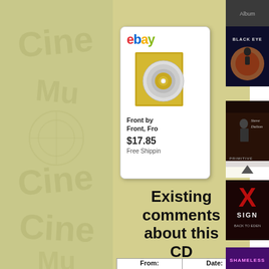[Figure (screenshot): Left column with olive/tan background and watermark text resembling 'Cine Music' or band logo in faded style]
[Figure (screenshot): eBay product listing card showing a CD with gold/yellow cover art. Title: 'Front by Front, Fro...' Price: $17.85, Free Shipping]
Existing comments about this CD
| From: | Date: |
| --- | --- |
[Figure (photo): Black Eye album cover - space/astronaut scene]
[Figure (photo): Steve Dalton Primitive album cover - dark moody photo]
[Figure (photo): Sign X - Back to Eden album cover with red X logo]
[Figure (photo): Shameless album cover - purple/pink with band name]